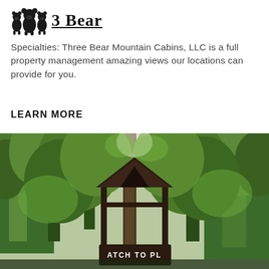[Figure (logo): 3 Bear logo with bear silhouette icon and underlined text '3 Bear']
Specialties: Three Bear Mountain Cabins, LLC is a full property management amazing views our locations can provide for you.
LEARN MORE
[Figure (photo): Outdoor photo of a dark wooden cabin/gazebo structure with a sign reading 'WATCH TO PLA' visible at the bottom, surrounded by tall green trees with bright sky visible through the canopy.]